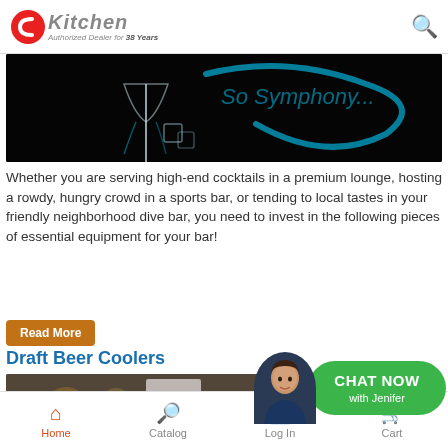CKitchen — Authorized Dealer for 38 Years
[Figure (photo): Dark background with a martini glass, ice cubes, and blue swirl text reading 'So Symphony...'. Bar-themed promotional image.]
Whether you are serving high-end cocktails in a premium lounge, hosting a rowdy, hungry crowd in a sports bar, or tending to local tastes in your friendly neighborhood dive bar, you need to invest in the following pieces of essential equipment for your bar!
Read More
Draft Beer Coolers
[Figure (photo): Close-up photo of a draft beer glass with foam, blurred background with warm bokeh lights.]
[Figure (other): Chat Now with Jenifer — green chat bubble overlay with avatar of a woman.]
Home | Catalog | Log In | Cart